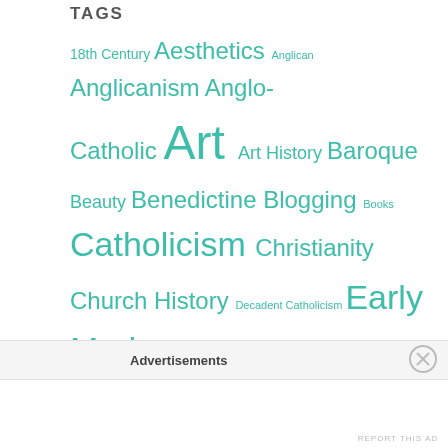TAGS
18th Century Aesthetics Anglican Anglicanism Anglo-Catholic Art Art History Baroque Beauty Benedictine Blogging Books Catholicism Christianity Church History Decadent Catholicism Early Modern Eastern Orthodoxy Elsewhere England English English Christianity Ethics Eucharist Film & Television Fr. Faber France French French History French Spirituality Gratitude History Horror Housekeeping Humor Iconography Icons Ireland Italy Jansenism Lent Literature Liturgy London Oratory Marian Mariology Mary Milestones
Advertisements